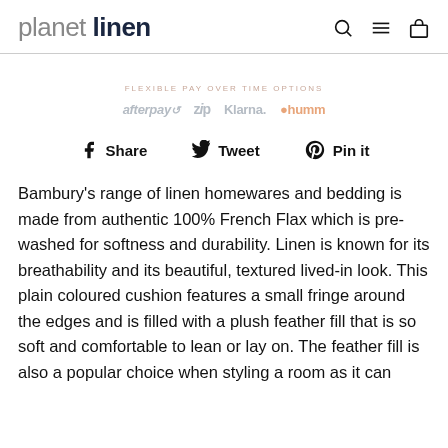planet linen
[Figure (infographic): Payment options banner showing logos for afterpay, zip, Klarna, and humm with label FLEXIBLE PAY OVER TIME OPTIONS]
Share  Tweet  Pin it
Bambury's range of linen homewares and bedding is made from authentic 100% French Flax which is pre-washed for softness and durability. Linen is known for its breathability and its beautiful, textured lived-in look. This plain coloured cushion features a small fringe around the edges and is filled with a plush feather fill that is so soft and comfortable to lean or lay on. The feather fill is also a popular choice when styling a room as it can